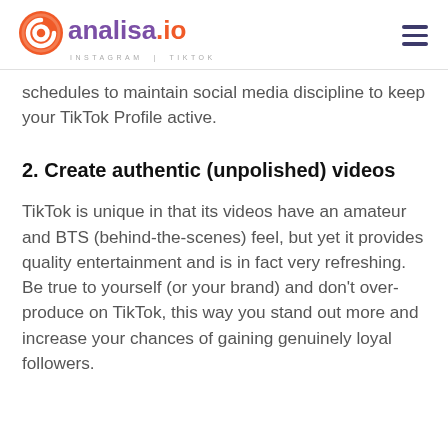analisa.io INSTAGRAM | TIKTOK
schedules to maintain social media discipline to keep your TikTok Profile active.
2. Create authentic (unpolished) videos
TikTok is unique in that its videos have an amateur and BTS (behind-the-scenes) feel, but yet it provides quality entertainment and is in fact very refreshing.  Be true to yourself (or your brand) and don't over-produce on TikTok, this way you stand out more and increase your chances of gaining genuinely loyal followers.